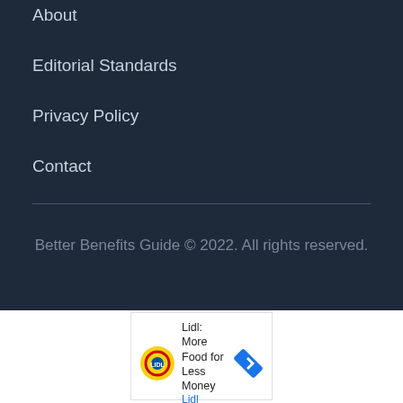About
Editorial Standards
Privacy Policy
Contact
Better Benefits Guide © 2022. All rights reserved.
[Figure (infographic): Advertisement for Lidl: More Food for Less Money, showing Lidl logo and navigation arrow icon, with play and close icons below.]